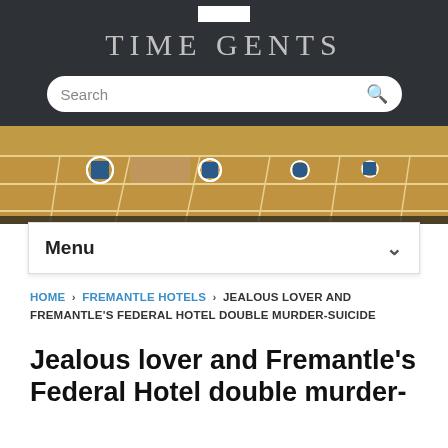TIME GENTS
[Figure (photo): Horizontal row of tan/golden glazed ceramic tiles with circular blue accent tiles, receding into the distance]
Menu
HOME › FREMANTLE HOTELS › JEALOUS LOVER AND FREMANTLE'S FEDERAL HOTEL DOUBLE MURDER-SUICIDE
Jealous lover and Fremantle's Federal Hotel double murder-